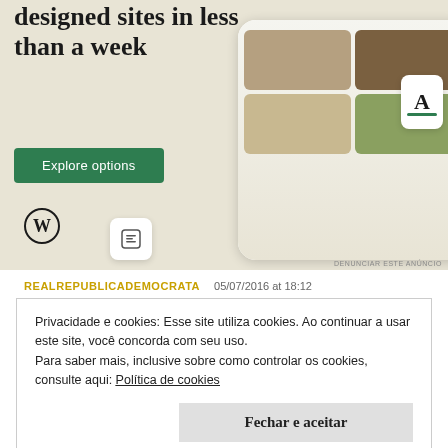[Figure (screenshot): WordPress advertisement banner with beige background. Headline reads 'Professionally designed sites in less than a week'. Green 'Explore options' button. WordPress logo bottom left. Phone mockup showing food website on right side. Small card icons visible.]
DENUNCIAR ESTE ANÚNCIO
REALREPUBLICADEMOCRATA   05/07/2016 at 18:12
Privacidade e cookies: Esse site utiliza cookies. Ao continuar a usar este site, você concorda com seu uso.
Para saber mais, inclusive sobre como controlar os cookies, consulte aqui: Política de cookies
Fechar e aceitar